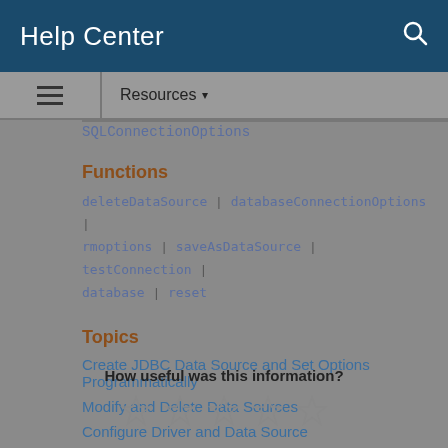Help Center
Resources ▾
SQLConnectionOptions
Functions
deleteDataSource | databaseConnectionOptions | rmoptions | saveAsDataSource | testConnection | database | reset
Topics
Create JDBC Data Source and Set Options Programmatically
Modify and Delete Data Sources
Configure Driver and Data Source
How useful was this information?